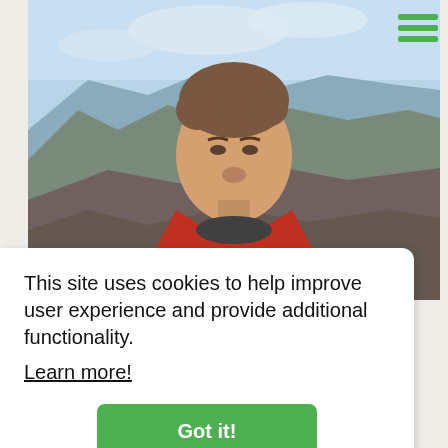[Figure (photo): A man in a red jacket selfie on a mountain summit with rocky peaks and a fjord in the background under a cloudy sky]
This site uses cookies to help improve user experience and provide additional functionality.
Learn more!
Got it!
" To me ME is no great mystery"